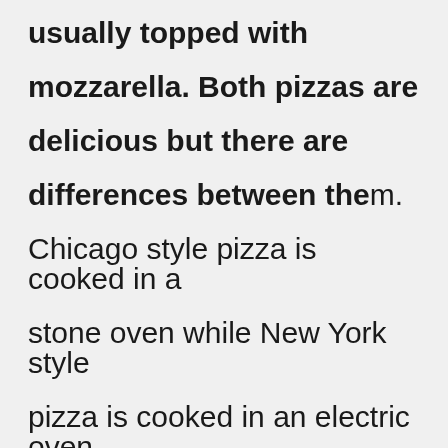usually topped with mozzarella. Both pizzas are delicious but there are differences between them. Chicago style pizza is cooked in a stone oven while New York style pizza is cooked in an electric oven. New York style pizza is typically served hot from the oven while